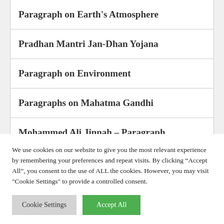Paragraph on Earth's Atmosphere
Pradhan Mantri Jan-Dhan Yojana
Paragraph on Environment
Paragraphs on Mahatma Gandhi
Mohammed Ali Jinnah – Paragraph
We use cookies on our website to give you the most relevant experience by remembering your preferences and repeat visits. By clicking “Accept All”, you consent to the use of ALL the cookies. However, you may visit "Cookie Settings" to provide a controlled consent.